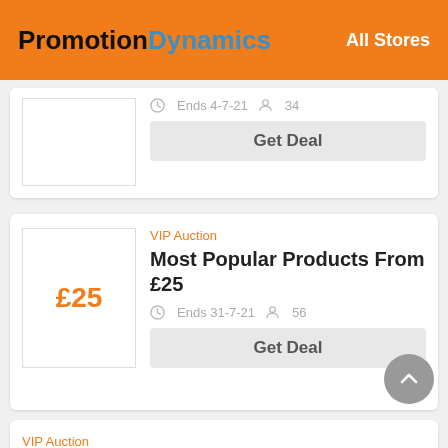PromotionDynamics — All Stores
Ends 4-7-21  34
Get Deal
VIP Auction
Most Popular Products From £25
Ends 31-7-21  56
Get Deal
VIP Auction